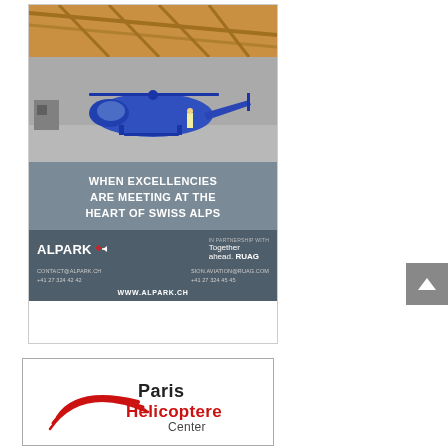[Figure (photo): Advertisement for ALPARK helicopter facility in Swiss Alps. Blue helicopter parked in hangar. Text reads: WHEN EXCELLENCIES ARE MEETING AT THE HEART OF SWISS ALPS. ALPARK logo with cross symbol. In partnership with Together ahead. RUAG. Contact: CONTACT@ALPARK.CH +41 27 324 42 42, SION.AVIATION@RUAG.COM +41 27 324 45 45. WWW.ALPARK.CH]
[Figure (logo): Paris Helicoptere Center logo with red swoosh design and text Paris Helicoptere Center]